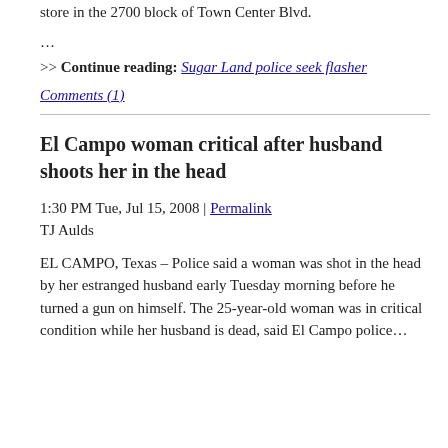store in the 2700 block of Town Center Blvd.
…
>> Continue reading: Sugar Land police seek flasher
Comments (1)
El Campo woman critical after husband shoots her in the head
1:30 PM Tue, Jul 15, 2008 | Permalink
TJ Aulds
EL CAMPO, Texas – Police said a woman was shot in the head by her estranged husband early Tuesday morning before he turned a gun on himself. The 25-year-old woman was in critical condition while her husband is dead, said El Campo police...